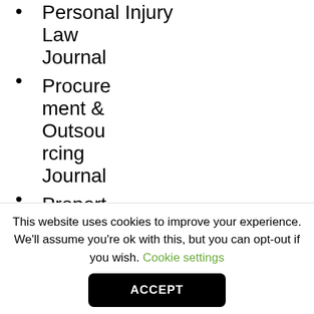Personal Injury Law Journal
Procurement & Outsourcing Journal
Property Law Journal
Trusts &
This website uses cookies to improve your experience. We'll assume you're ok with this, but you can opt-out if you wish. Cookie settings
ACCEPT